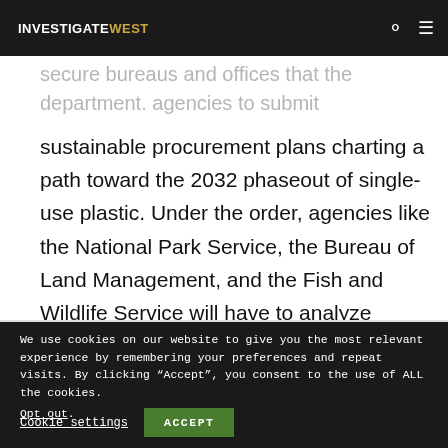INVESTIGATEWEST
secure bureaus and offices that the department. agencies to submit sustainable procurement plans charting a path toward the 2032 phaseout of single-use plastic. Under the order, agencies like the National Park Service, the Bureau of Land Management, and the Fish and Wildlife Service will have to analyze
We use cookies on our website to give you the most relevant experience by remembering your preferences and repeat visits. By clicking “Accept”, you consent to the use of ALL the cookies. Opt out.
Cookie settings   ACCEPT